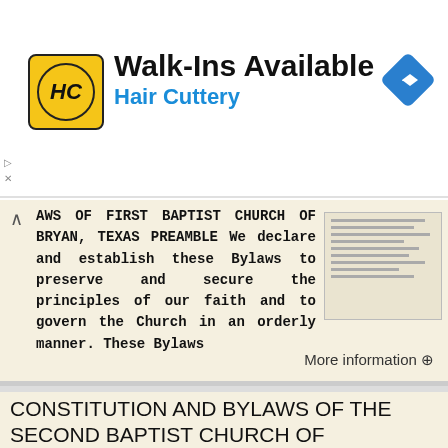[Figure (other): Hair Cuttery advertisement banner with logo, Walk-Ins Available text, and navigation arrow icon]
LAWS OF FIRST BAPTIST CHURCH OF BRYAN, TEXAS PREAMBLE We declare and establish these Bylaws to preserve and secure the principles of our faith and to govern the Church in an orderly manner. These Bylaws
More information →
CONSTITUTION AND BYLAWS OF THE SECOND BAPTIST CHURCH OF SPRINGFIELD, MISSOURI
CONSTITUTION AND BYLAWS OF THE SECOND BAPTIST CHURCH OF SPRINGFIELD, MISSOURI October, 2018 2 CONSTITUTION REVISED 2018 ARTICLE I: